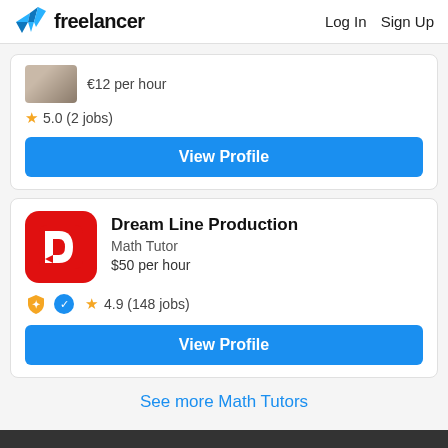freelancer  Log In  Sign Up
[Figure (screenshot): Partial freelancer profile card showing a photo thumbnail, price '€12 per hour', rating 5.0 (2 jobs), and a View Profile button]
[Figure (screenshot): Freelancer profile card for Dream Line Production, Math Tutor, $50 per hour, rating 4.9 (148 jobs), with orange and blue badge icons, and a View Profile button]
See more Math Tutors